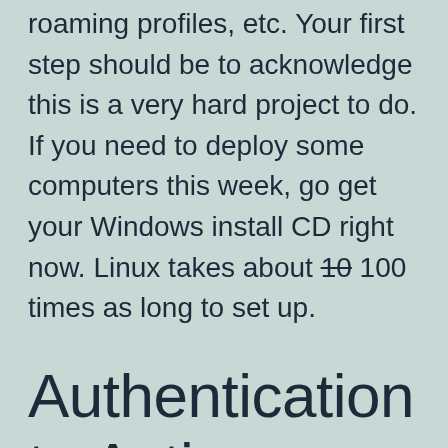roaming profiles, etc. Your first step should be to acknowledge this is a very hard project to do. If you need to deploy some computers this week, go get your Windows install CD right now. Linux takes about 10 100 times as long to set up.
Authentication to Active Directory